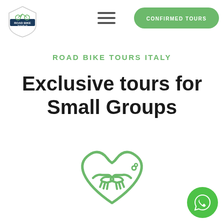[Figure (logo): Road Bike Tours Italy logo — shield shape with bicycle icon and text 'Road Bike Tour IT']
[Figure (illustration): Hamburger menu icon (three horizontal lines)]
[Figure (illustration): Green rounded rectangle button with text 'CONFIRMED TOURS']
ROAD BIKE TOURS ITALY
Exclusive tours for Small Groups
[Figure (illustration): Green outline icon of two hands shaking inside a heart shape]
[Figure (illustration): Green circular WhatsApp button with phone handset icon]